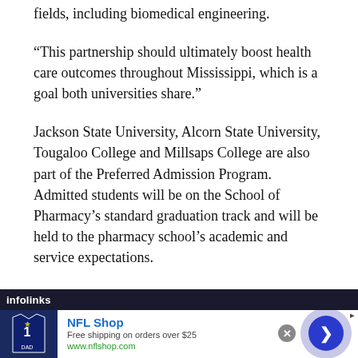fields, including biomedical engineering.
“This partnership should ultimately boost health care outcomes throughout Mississippi, which is a goal both universities share.”
Jackson State University, Alcorn State University, Tougaloo College and Millsaps College are also part of the Preferred Admission Program. Admitted students will be on the School of Pharmacy’s standard graduation track and will be held to the pharmacy school’s academic and service expectations.
[Figure (screenshot): Infolinks ad banner for NFL Shop showing a Dallas Cowboys jersey, text 'NFL Shop', 'Free shipping on orders over $25', 'www.nflshop.com', with a blue circle arrow button and close button.]